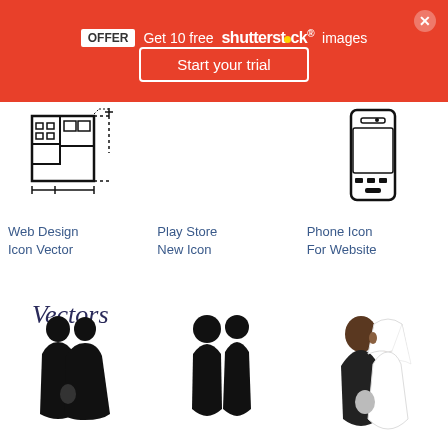[Figure (screenshot): Shutterstock promotional banner: OFFER badge, 'Get 10 free shutterstock images', 'Start your trial' button, close button]
[Figure (illustration): Web Design Icon Vector – architectural floor plan line drawing icon]
Web Design Icon Vector
[Figure (illustration): Play Store New Icon – empty space/placeholder]
Play Store New Icon
[Figure (illustration): Phone Icon For Website – mobile phone/cell phone line drawing icon]
Phone Icon For Website
Vectors
[Figure (illustration): Bride and groom silhouette – black silhouette of wedding couple]
[Figure (illustration): Two stick figure people silhouette – couple standing together]
[Figure (illustration): Cartoon wedding couple kissing – illustrated bride and groom kissing]